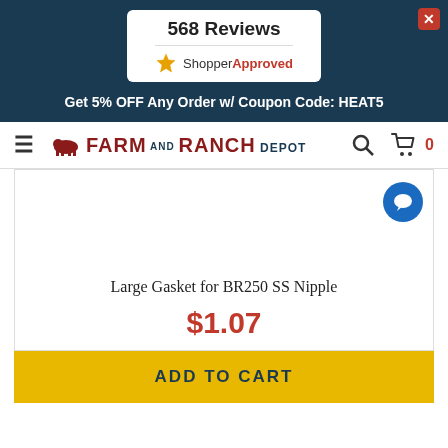568 Reviews
[Figure (logo): Shopper Approved logo with star icon]
Get 5% OFF Any Order w/ Coupon Code: HEAT5
[Figure (logo): Farm and Ranch Depot logo with cow icon]
[Figure (photo): Product image area for Large Gasket for BR250 SS Nipple (white/empty area)]
Large Gasket for BR250 SS Nipple
$1.07
ADD TO CART